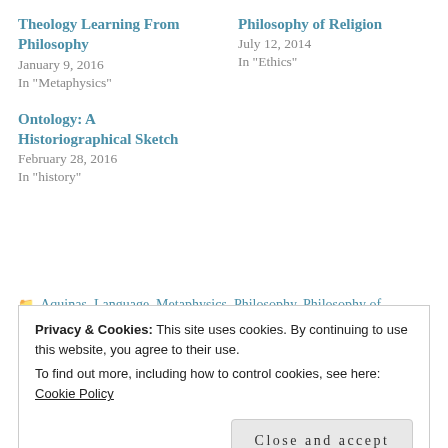Theology Learning From Philosophy
January 9, 2016
In "Metaphysics"
Philosophy of Religion
July 12, 2014
In "Ethics"
Ontology: A Historiographical Sketch
February 28, 2016
In "history"
Aquinas, Language, Metaphysics, Philosophy, Philosophy of language, Wittgenstein
aquinas, language, metaphyics, philosophy, philosophy of
Privacy & Cookies: This site uses cookies. By continuing to use this website, you agree to their use.
To find out more, including how to control cookies, see here: Cookie Policy
Close and accept
Theory Development